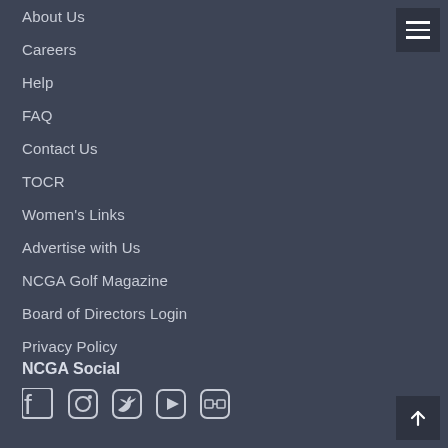About Us
Careers
Help
FAQ
Contact Us
TOCR
Women's Links
Advertise with Us
NCGA Golf Magazine
Board of Directors Login
Privacy Policy
NCGA Social
[Figure (other): Social media icons: Facebook, Instagram, Twitter, YouTube, and one more]